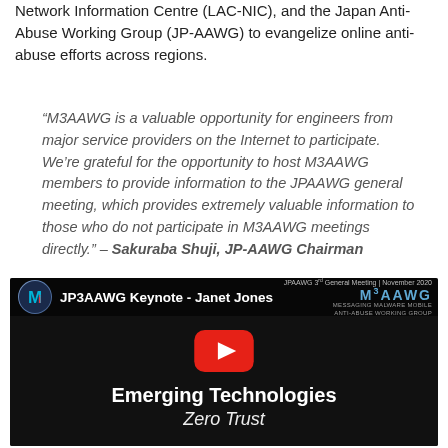Network Information Centre (LAC-NIC), and the Japan Anti-Abuse Working Group (JP-AAWG) to evangelize online anti-abuse efforts across regions.
“M3AAWG is a valuable opportunity for engineers from major service providers on the Internet to participate. We’re grateful for the opportunity to host M3AAWG members to provide information to the JPAAWG general meeting, which provides extremely valuable information to those who do not participate in M3AAWG meetings directly.” – Sakuraba Shuji, JP-AAWG Chairman
[Figure (screenshot): YouTube video thumbnail showing JP3AAWG Keynote by Janet Jones, titled 'Emerging Technologies Zero Trust', with JPAAWG 3rd General Meeting November 2020 branding and M3AAWG logo]